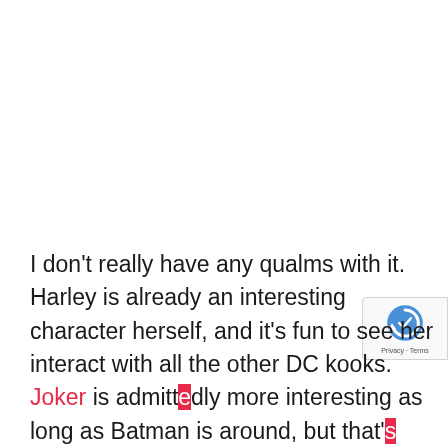I don't really have any qualms with it. Harley is already an interesting character herself, and it's fun to see her interact with all the other DC kooks. Joker is admittedly more interesting as long as Batman is around, but that's